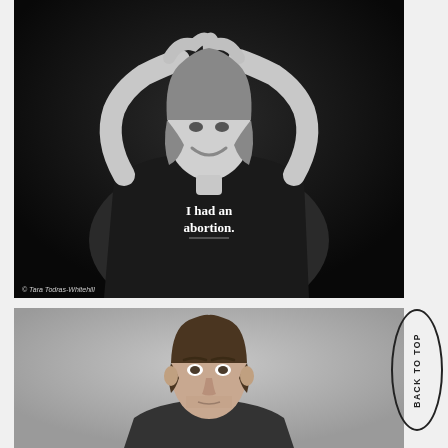[Figure (photo): Black and white portrait photograph of an older woman smiling, hands raised above her head forming a heart shape, wearing a black t-shirt that reads 'I had an abortion.' Photo credit: © Tara Todras-Whitehill]
[Figure (photo): Color portrait photograph of a young man with dark hair and stubble, wearing a black t-shirt, looking directly at camera against a gray background]